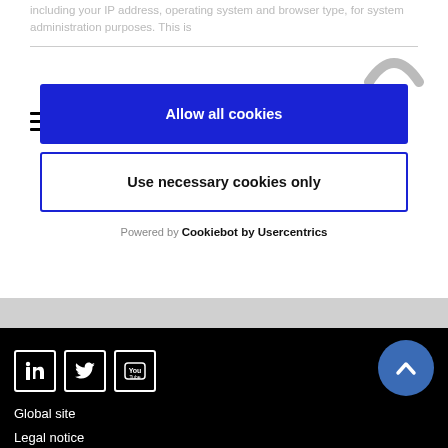including your IP address, operating system and browser type, for system administration purposes. This is
[Figure (screenshot): Hamburger menu icon (three horizontal lines) in top left, partial circular logo in top right]
Allow all cookies
Use necessary cookies only
Powered by Cookiebot by Usercentrics
[Figure (screenshot): Social media icons for LinkedIn, Twitter, and YouTube in white outline boxes on black footer]
[Figure (other): Blue circular back-to-top button with upward chevron arrow]
Global site
Legal notice
Cookies